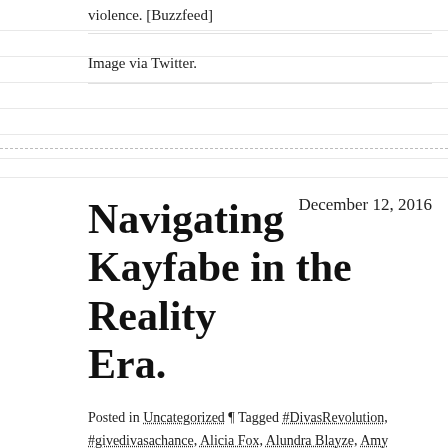violence. [Buzzfeed]
Image via Twitter.
Navigating Kayfabe in the Reality Era.
December 12, 2016
Posted in Uncategorized ¶ Tagged #DivasRevolution, #givedivasachance, Alicia Fox, Alundra Blayze, Amy Schumer, Breaking Ground, Brody Jenner, CM Punk, Colt Cabana, Complex magazine, Daniel Bryan, Dolph Ziggler, Dwayne Johnson, Eva Marie, Heidi Montag, Hulk Hogan, Jimmy Snuka, John Cena, JXT, Keeping Up with the Kardashians, Kevin Owens, Kofi Kingston, Kristin Cavallari, Lana, Lauren Conrad, Natalya